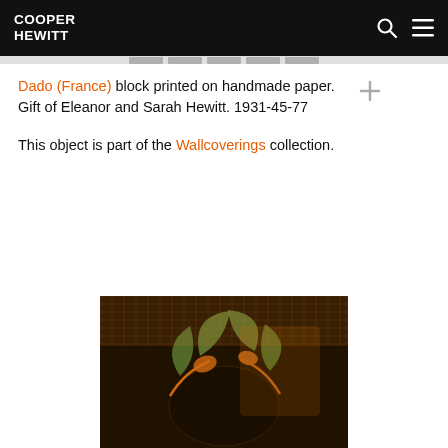COOPER HEWITT
Dado (France) block printed on handmade paper. Gift of Eleanor and Sarah Hewitt. 1931-45-77
This object is part of the Wallcoverings collection.
[Figure (photo): Close-up photograph of a block-printed wallcovering dado from France, showing a floral/botanical pattern with orange, brown, and dark tones on handmade paper.]